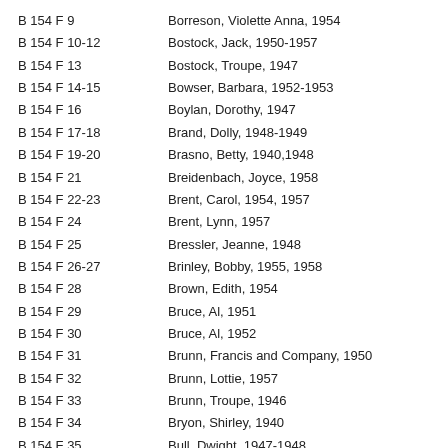B 154 F 9    Borreson, Violette Anna, 1954
B 154 F 10-12    Bostock, Jack, 1950-1957
B 154 F 13    Bostock, Troupe, 1947
B 154 F 14-15    Bowser, Barbara, 1952-1953
B 154 F 16    Boylan, Dorothy, 1947
B 154 F 17-18    Brand, Dolly, 1948-1949
B 154 F 19-20    Brasno, Betty, 1940,1948
B 154 F 21    Breidenbach, Joyce, 1958
B 154 F 22-23    Brent, Carol, 1954, 1957
B 154 F 24    Brent, Lynn, 1957
B 154 F 25    Bressler, Jeanne, 1948
B 154 F 26-27    Brinley, Bobby, 1955, 1958
B 154 F 28    Brown, Edith, 1954
B 154 F 29    Bruce, Al, 1951
B 154 F 30    Bruce, Al, 1952
B 154 F 31    Brunn, Francis and Company, 1950
B 154 F 32    Brunn, Lottie, 1957
B 154 F 33    Brunn, Troupe, 1946
B 154 F 34    Bryon, Shirley, 1940
B 154 F 35    Bull, Dwight, 1947-1948